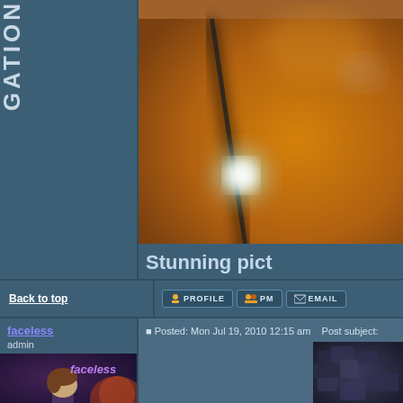GATION
[Figure (photo): Macro close-up photo of what appears to be a guitar string or wire against a blurred orange/amber bokeh background with a bright specular highlight]
© Miroslaw Swietek/Solent
Stunning pict
Back to top
PROFILE  PM  EMAIL
faceless
admin
[Figure (illustration): User avatar showing an animated/cartoon character illustration with text 'faceless']
Posted: Mon Jul 19, 2010 12:15 am   Post subject:
[Figure (photo): Dark textured surface photo, appears rocky or terrain-like in dark blue/purple tones]